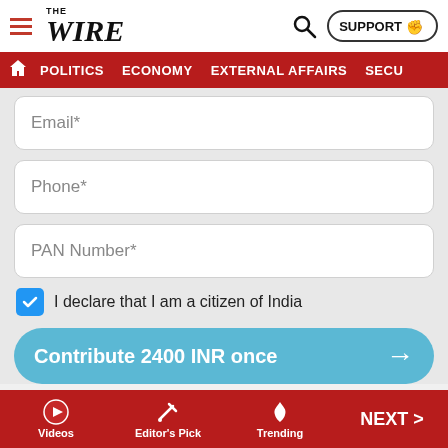THE WIRE — POLITICS | ECONOMY | EXTERNAL AFFAIRS | SECU...
Email*
Phone*
PAN Number*
I declare that I am a citizen of India
Contribute 2400 INR once →
All contributions are eligible for deductions under sec 80G of the Income...
Videos | Editor's Pick | Trending | NEXT >